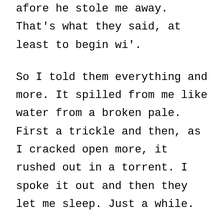afore he stole me away. That's what they said, at least to begin wi'.
So I told them everything and more. It spilled from me like water from a broken pale. First a trickle and then, as I cracked open more, it rushed out in a torrent. I spoke it out and then they let me sleep. Just a while.
So feel free to ask me again, for I know most of it by heart. Ask me about what I did. About what I saw. For though I lay upon this floor weak wi'